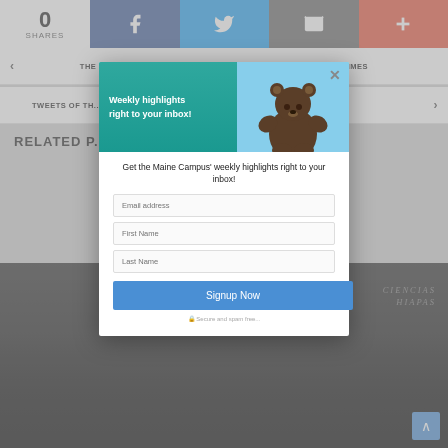0 SHARES | Facebook | Twitter | Email | +
THE WEEKND'S NEW ALBUM PROVIDES SOLACE DURING HARD TIMES
TWEETS OF TH...
RELATED P...
[Figure (screenshot): Modal popup with bear mascot image and newsletter signup form for Maine Campus weekly highlights. Contains email, first name, last name fields and Signup Now button.]
[Figure (photo): Orchestra musicians performing on stage in a dark venue, with Ciencias Chiapas text visible in background.]